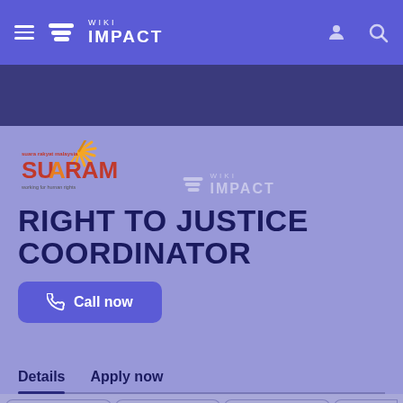WIKI IMPACT
[Figure (logo): SUARAM (Suara Rakyat Malaysia) logo - working for human rights]
RIGHT TO JUSTICE COORDINATOR
Call now
Details   Apply now
Call now   Bookmark   Share   Re...